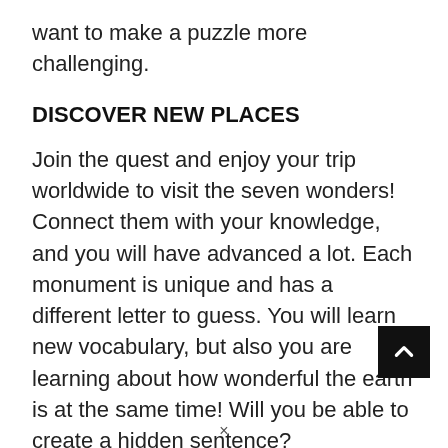want to make a puzzle more challenging.
DISCOVER NEW PLACES
Join the quest and enjoy your trip worldwide to visit the seven wonders! Connect them with your knowledge, and you will have advanced a lot. Each monument is unique and has a different letter to guess. You will learn new vocabulary, but also you are learning about how wonderful the earth is at the same time! Will you be able to create a hidden sentence?
BECOME A MASTER